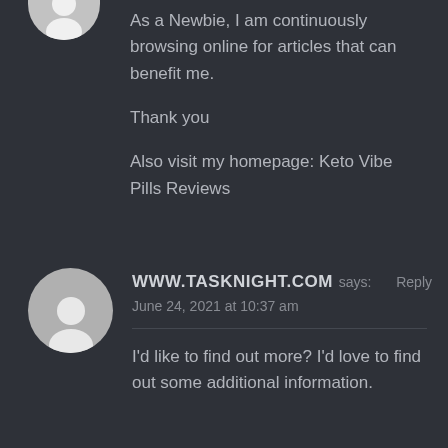[Figure (illustration): Partial gray avatar circle at top left, showing a generic person silhouette (head and shoulders), cropped at top edge]
As a Newbie, I am continuously browsing online for articles that can benefit me.

Thank you

Also visit my homepage: Keto Vibe Pills Reviews
[Figure (illustration): Gray circular avatar showing a generic person silhouette (head and shoulders) for user WWW.TASKNIGHT.COM]
WWW.TASKNIGHT.COM says: Reply
June 24, 2021 at 10:37 am
I'd like to find out more? I'd love to find out some additional information.